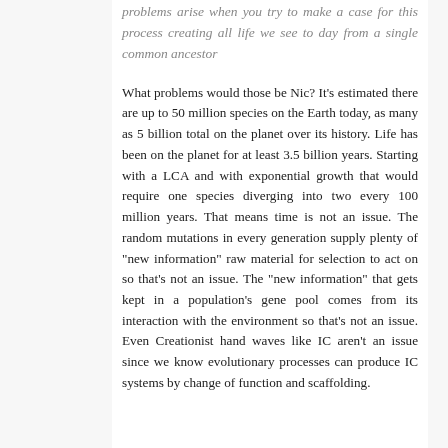problems arise when you try to make a case for this process creating all life we see to day from a single common ancestor
What problems would those be Nic? It's estimated there are up to 50 million species on the Earth today, as many as 5 billion total on the planet over its history. Life has been on the planet for at least 3.5 billion years. Starting with a LCA and with exponential growth that would require one species diverging into two every 100 million years. That means time is not an issue. The random mutations in every generation supply plenty of "new information" raw material for selection to act on so that's not an issue. The "new information" that gets kept in a population's gene pool comes from its interaction with the environment so that's not an issue. Even Creationist hand waves like IC aren't an issue since we know evolutionary processes can produce IC systems by change of function and scaffolding.